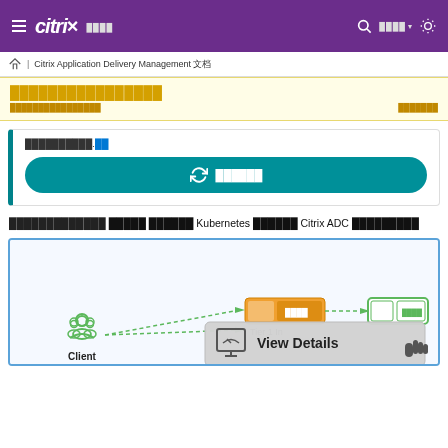≡ citrix docs | 🔍 ████ ❄
🏠 | Citrix Application Delivery Management 文档
████████████████
████████████████ · ███████
██████████.██
↻ ██████
█████████████ █████ ██████ Kubernetes █████ Citrix ADC █████████
[Figure (screenshot): Diagram showing Tier 1 Ingress and Client nodes in a Kubernetes/Citrix ADC architecture with a 'View Details' overlay popup and a hand cursor icon.]